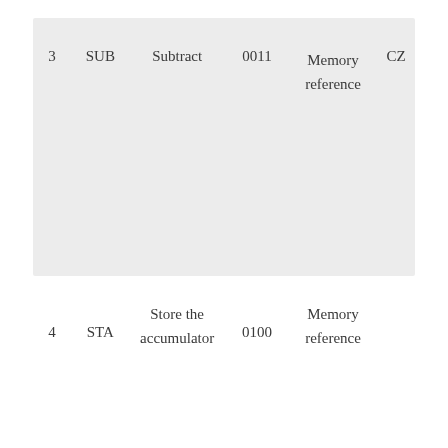|  | Mnemonic | Description | Opcode | Type | Flags |
| --- | --- | --- | --- | --- | --- |
| 3 | SUB | Subtract | 0011 | Memory reference | CZ |
| 4 | STA | Store the accumulator | 0100 | Memory reference |  |